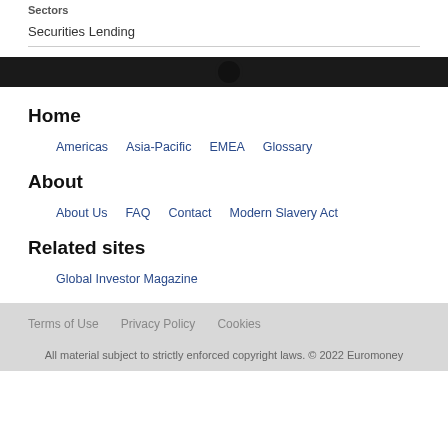Sectors
Securities Lending
Home
Americas
Asia-Pacific
EMEA
Glossary
About
About Us
FAQ
Contact
Modern Slavery Act
Related sites
Global Investor Magazine
Terms of Use   Privacy Policy   Cookies
All material subject to strictly enforced copyright laws. © 2022 Euromoney